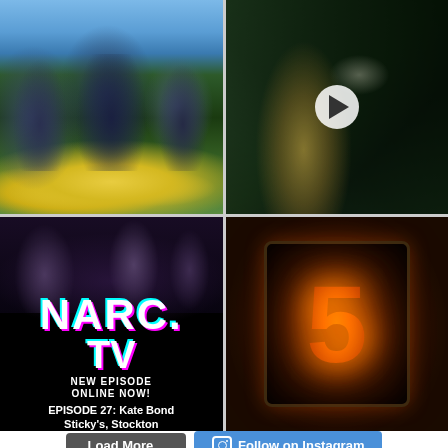[Figure (photo): Three young men standing among yellow daffodils in an outdoor park setting with bare winter trees in background]
[Figure (photo): Close-up of a saxophone or clarinet being played, with a play button overlay indicating a video]
[Figure (screenshot): NARC.TV promotional image with performers on stage at Sticky's, Stockton. Text reads: NARC. TV NEW EPISODE ONLINE NOW! EPISODE 27: Kate Bond Sticky's, Stockton. narcmagazine.com / YouTube / Facebook / IGTV]
[Figure (photo): A glowing orange numeral '5' displayed on a dark nixie tube or LED display panel]
Load More...
Follow on Instagram